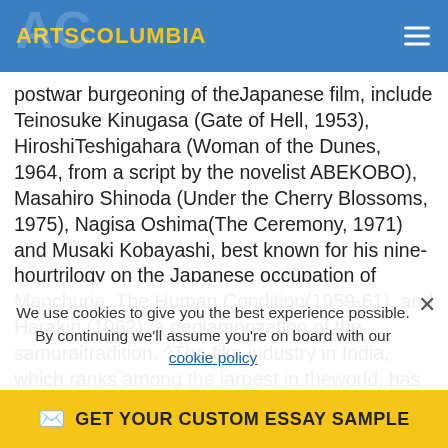ARTSCOLUMBIA
postwar burgeoning of the Japanese film, include Teinosuke Kinugasa (Gate of Hell, 1953), HiroshiTeshigahara (Woman of the Dunes, 1964, from a script by the novelist ABEKOBO), Masahiro Shinoda (Under the Cherry Blossoms, 1975), Nagisa Oshima(The Ceremony, 1971) and Musaki Kobayashi, best known for his nine-hourtrilogy on the Japanese occupation of Manchuria, The Human Condition(1959-61), and Harakiri (1962), a deglamorization of the samuraitradition. ^The film industry in India, which ranks among the largest in theworld, has produced very little for international consumption. Its mostiamous director, Satyajit Ray, vividly brings to life the problems of a India in transition, in particular in the trilogy comprising Pather Panchali (1955), Aparajito
We use cookies to give you the best experience possible. By continuing we'll assume you're on board with our cookie policy
GET YOUR CUSTOM ESSAY SAMPLE